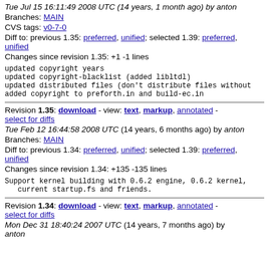Tue Jul 15 16:11:49 2008 UTC (14 years, 1 month ago) by anton
Branches: MAIN
CVS tags: v0-7-0
Diff to: previous 1.35: preferred, unified; selected 1.39: preferred, unified
Changes since revision 1.35: +1 -1 lines
updated copyright years
updated copyright-blacklist (added libltdl)
updated distributed files (don't distribute files without
added copyright to preforth.in and build-ec.in
Revision 1.35: download - view: text, markup, annotated - select for diffs
Tue Feb 12 16:44:58 2008 UTC (14 years, 6 months ago) by anton
Branches: MAIN
Diff to: previous 1.34: preferred, unified; selected 1.39: preferred, unified
Changes since revision 1.34: +135 -135 lines
Support kernel building with 0.6.2 engine, 0.6.2 kernel,
   current startup.fs and friends.
Revision 1.34: download - view: text, markup, annotated - select for diffs
Mon Dec 31 18:40:24 2007 UTC (14 years, 7 months ago) by anton